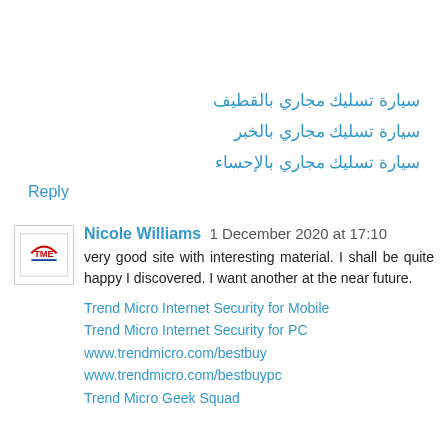سيارة تسليك مجاري بالقطيف
سيارة تسليك مجاري بالخبر
سيارة تسليك مجاري بالإحساء
Reply
Nicole Williams  1 December 2020 at 17:10
very good site with interesting material. I shall be quite happy I discovered. I want another at the near future.
Trend Micro Internet Security for Mobile
Trend Micro Internet Security for PC
www.trendmicro.com/bestbuy
www.trendmicro.com/bestbuypc
Trend Micro Geek Squad